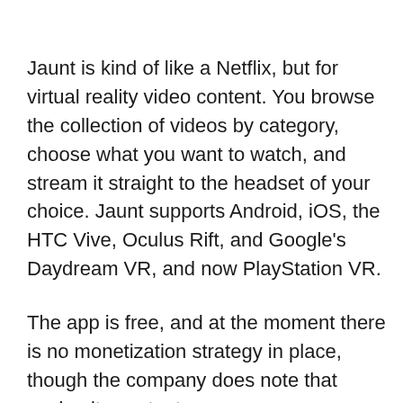Jaunt is kind of like a Netflix, but for virtual reality video content. You browse the collection of videos by category, choose what you want to watch, and stream it straight to the headset of your choice. Jaunt supports Android, iOS, the HTC Vive, Oculus Rift, and Google's Daydream VR, and now PlayStation VR.
The app is free, and at the moment there is no monetization strategy in place, though the company does note that paying its content